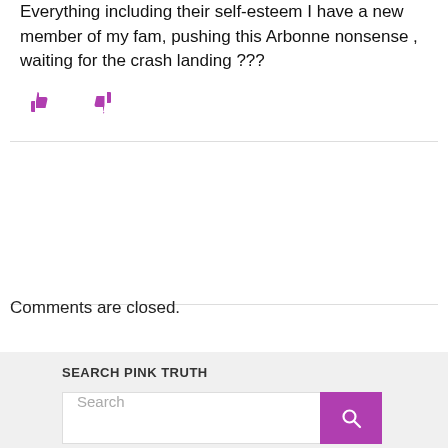Everything including their self-esteem I have a new member of my fam, pushing this Arbonne nonsense , waiting for the crash landing ???
[Figure (illustration): Thumbs up and thumbs down icons in purple/magenta color for voting on comment]
Comments are closed.
SEARCH PINK TRUTH
[Figure (screenshot): Search bar with white input field showing placeholder 'Search' and a purple search button with magnifying glass icon]